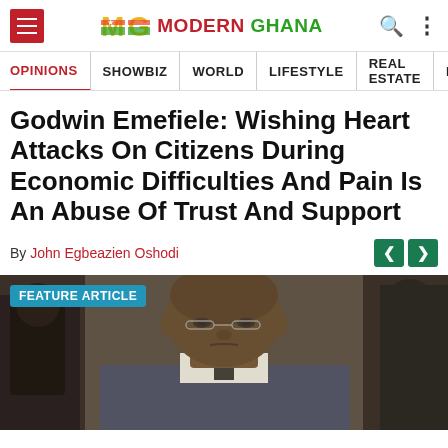Modern Ghana — site navigation header with hamburger menu, logo, search and menu icons
OPINIONS | SHOWBIZ | WORLD | LIFESTYLE | REAL ESTATE | MEDIA
Godwin Emefiele: Wishing Heart Attacks On Citizens During Economic Difficulties And Pain Is An Abuse Of Trust And Support
By John Egbeazien Oshodi
[Figure (photo): Feature article photo of Godwin Emefiele, a man in a suit, photographed from the shoulders up, looking downward, in a formal setting. A 'FEATURE ARTICLE' badge overlays the top-left of the image.]